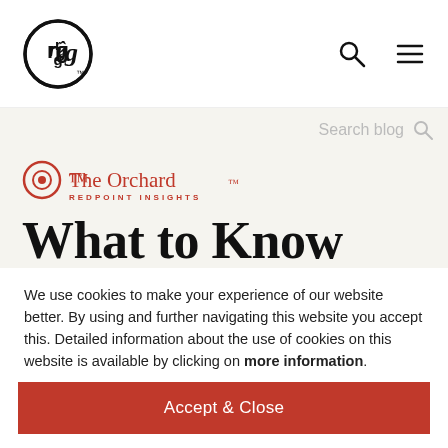rg (logo) | search icon | menu icon
Search blog
[Figure (logo): The Orchard Redpoint Insights logo — circular target icon in red with 'The Orchard' in red serif text and 'REDPOINT INSIGHTS' in small red caps below]
What to Know About Metadata at the Data Layer
We use cookies to make your experience of our website better. By using and further navigating this website you accept this. Detailed information about the use of cookies on this website is available by clicking on more information.
Accept & Close